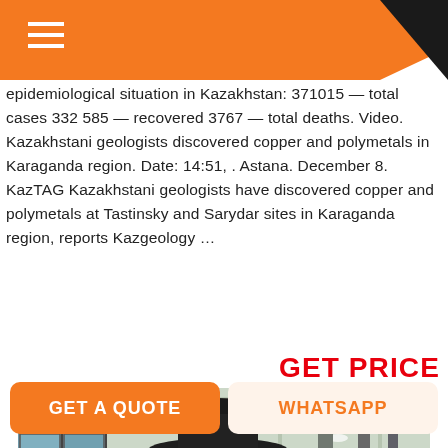Navigation menu header bar with hamburger icon
epidemiological situation in Kazakhstan: 371015 — total cases 332 585 — recovered 3767 — total deaths. Video. Kazakhstani geologists discovered copper and polymetals in Karaganda region. Date: 14:51, . Astana. December 8. KazTAG Kazakhstani geologists have discovered copper and polymetals at Tastinsky and Sarydar sites in Karaganda region, reports Kazgeology …
GET PRICE
[Figure (photo): Industrial machine (cone crusher) in a large factory/warehouse with large windows on the left side, red hydraulic cylinders, structural steel framework, and a light grey roof.]
GET A QUOTE
WHATSAPP